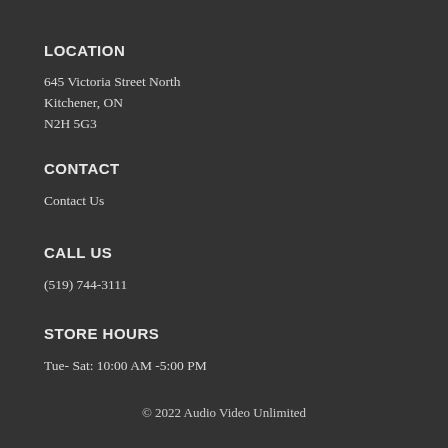LOCATION
645 Victoria Street North
Kitchener, ON
N2H 5G3
CONTACT
Contact Us
CALL US
(519) 744-3111
STORE HOURS
Tue- Sat:  10:00 AM -5:00 PM
© 2022 Audio Video Unlimited